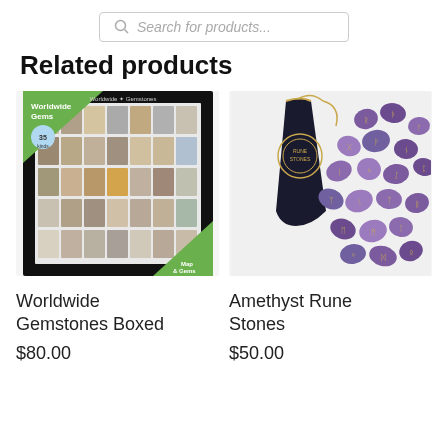[Figure (screenshot): Search bar with placeholder text 'Search for products...' and a search icon]
Related products
[Figure (photo): Worldwide Gemstones Boxed set — a black box containing a grid of 35 gemstone specimens with green label top-left and Map & Gemstones label bottom-right]
[Figure (photo): Amethyst Rune Stones — a black velvet pouch with gold drawstring and 25 purple amethyst rune stones scattered beside it]
Worldwide Gemstones Boxed
Amethyst Rune Stones
$80.00
$50.00